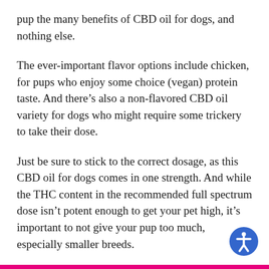pup the many benefits of CBD oil for dogs, and nothing else.
The ever-important flavor options include chicken, for pups who enjoy some choice (vegan) protein taste. And there’s also a non-flavored CBD oil variety for dogs who might require some trickery to take their dose.
Just be sure to stick to the correct dosage, as this CBD oil for dogs comes in one strength. And while the THC content in the recommended full spectrum dose isn’t potent enough to get your pet high, it’s important to not give your pup too much, especially smaller breeds.
Save 20% with code CBD20.